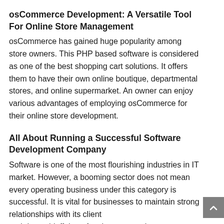osCommerce Development: A Versatile Tool For Online Store Management
osCommerce has gained huge popularity among store owners. This PHP based software is considered as one of the best shopping cart solutions. It offers them to have their own online boutique, departmental stores, and online supermarket. An owner can enjoy various advantages of employing osCommerce for their online store development.
All About Running a Successful Software Development Company
Software is one of the most flourishing industries in IT market. However, a booming sector does not mean every operating business under this category is successful. It is vital for businesses to maintain strong relationships with its clients and do not bluff them for short term gains.